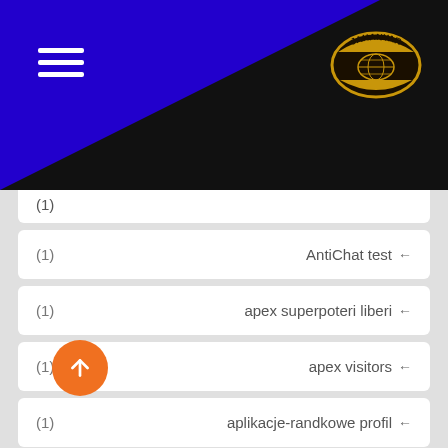[Figure (logo): Navigation header with blue triangle on dark background, hamburger menu icon on left, and Jahanyar gold badge logo on right]
(1)  AntiChat test ←
(1)  apex superpoteri liberi ←
(1)  apex visitors ←
(1)  aplikacje-randkowe profil ←
(1)  app ←